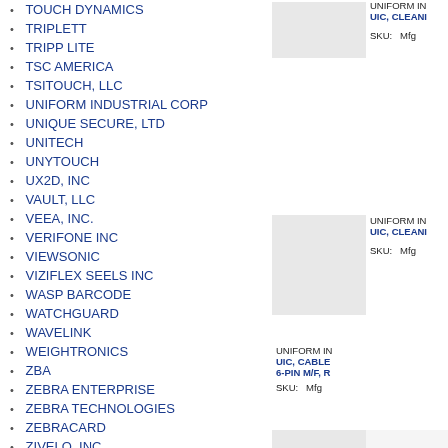TOUCH DYNAMICS
TRIPLETT
TRIPP LITE
TSC AMERICA
TSITOUCH, LLC
UNIFORM INDUSTRIAL CORP
UNIQUE SECURE, LTD
UNITECH
UNYTOUCH
UX2D, INC
VAULT, LLC
VEEA, INC.
VERIFONE INC
VIEWSONIC
VIZIFLEX SEELS INC
WASP BARCODE
WATCHGUARD
WAVELINK
WEIGHTRONICS
ZBA
ZEBRA ENTERPRISE
ZEBRA TECHNOLOGIES
ZEBRACARD
ZIVELO, INC.
[Figure (screenshot): Product card showing UNIFORM INDUSTRIAL CORP product image area with text 'UIC, CLEAN...' and SKU/Mfg fields]
[Figure (screenshot): Product card showing UNIFORM INDUSTRIAL CORP product image area with text 'UIC, CLEAN...' and SKU/Mfg fields]
[Figure (screenshot): Product card showing UNIFORM INDUSTRIAL CORP product with text 'UIC, CABLE 6-PIN M/F, R...' and SKU/Mfg fields]
[Figure (screenshot): Partial product card image area at bottom]